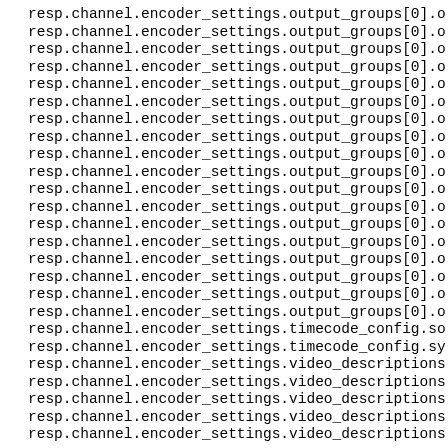resp.channel.encoder_settings.output_groups[0].o
resp.channel.encoder_settings.output_groups[0].o
resp.channel.encoder_settings.output_groups[0].o
resp.channel.encoder_settings.output_groups[0].o
resp.channel.encoder_settings.output_groups[0].o
resp.channel.encoder_settings.output_groups[0].o
resp.channel.encoder_settings.output_groups[0].o
resp.channel.encoder_settings.output_groups[0].o
resp.channel.encoder_settings.output_groups[0].o
resp.channel.encoder_settings.output_groups[0].o
resp.channel.encoder_settings.output_groups[0].o
resp.channel.encoder_settings.output_groups[0].o
resp.channel.encoder_settings.output_groups[0].o
resp.channel.encoder_settings.output_groups[0].o
resp.channel.encoder_settings.output_groups[0].o
resp.channel.encoder_settings.output_groups[0].o
resp.channel.encoder_settings.output_groups[0].o
resp.channel.encoder_settings.output_groups[0].o
resp.channel.encoder_settings.timecode_config.so
resp.channel.encoder_settings.timecode_config.sy
resp.channel.encoder_settings.video_descriptions
resp.channel.encoder_settings.video_descriptions
resp.channel.encoder_settings.video_descriptions
resp.channel.encoder_settings.video_descriptions
resp.channel.encoder_settings.video_descriptions